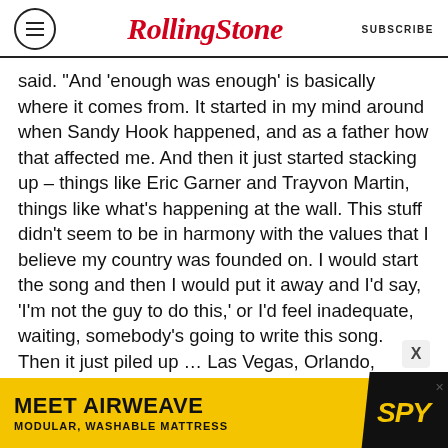Rolling Stone | SUBSCRIBE
said. “And ‘enough was enough’ is basically where it comes from. It started in my mind around when Sandy Hook happened, and as a father how that affected me. And then it just started stacking up – things like Eric Garner and Trayvon Martin, things like what’s happening at the wall. This stuff didn’t seem to be in harmony with the values that I believe my country was founded on. I would start the song and then I would put it away and I’d say, ‘I’m not the guy to do this,’ or I’d feel inadequate, waiting, somebody’s going to write this song. Then it just piled up … Las Vegas, Orlando, Parkland, and it just kept coming and I was just like, I have to get this out.”
[Figure (infographic): Advertisement banner for Airweave: MEET AIRWEAVE / MODULAR, WASHABLE MATTRESS with SPY logo on yellow background]